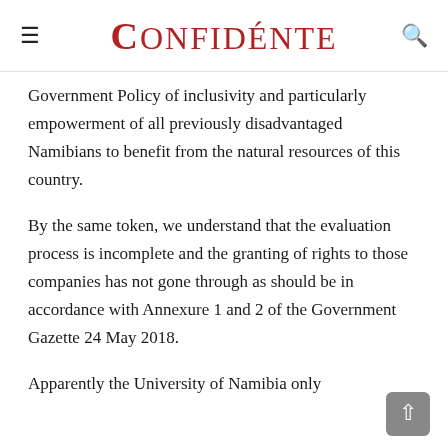Confidénte
Government Policy of inclusivity and particularly empowerment of all previously disadvantaged Namibians to benefit from the natural resources of this country.
By the same token, we understand that the evaluation process is incomplete and the granting of rights to those companies has not gone through as should be in accordance with Annexure 1 and 2 of the Government Gazette 24 May 2018.
Apparently the University of Namibia only